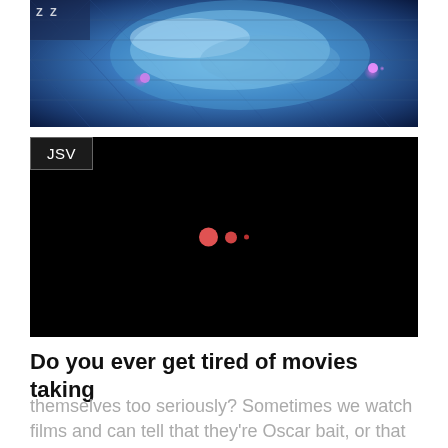[Figure (photo): Close-up digital/CGI image of a shiny, reflective blue and purple alien or creature form with glowing pink highlights against a geometric blue background]
[Figure (screenshot): Black video player frame with JSV label in top-left corner and three red loading dots (large, medium, small) centered in the frame]
Do you ever get tired of movies taking
themselves too seriously? Sometimes we watch films and can tell that they're Oscar bait, or that